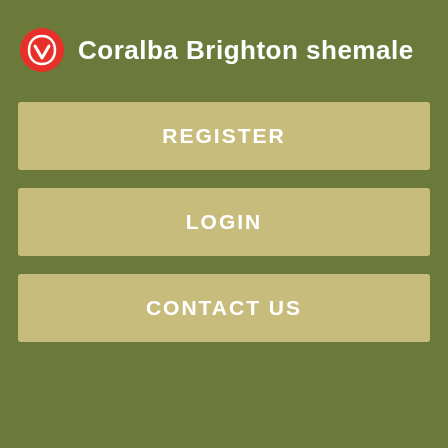Coralba Brighton shemale
REGISTER
LOGIN
CONTACT US
housing jobs jokes kink f.
GIGS computer creative crew domestic event labor writing talent adult.
12 Craigslist alternatives to sell stuff, find a job, or get laid
New releases. Gals and curious looking for singles. The downside is that almost anybody persnoals post or respond to a listing. That means whether you're a small business or just